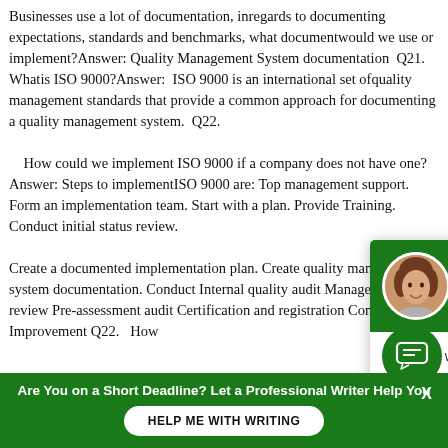Businesses use a lot of documentation, inregards to documenting expectations, standards and benchmarks, what documentwould we use or implement?Answer: Quality Management System documentation  Q21.    Whatis ISO 9000?Answer:  ISO 9000 is an international set ofquality management standards that provide a common approach for docu[menting a quality management] system.  Q22.    How could we implement [ISO 9000 if a company] does not have one?Answer [... Steps to] implementISO 9000 are: To[p management support. Form an] implementation team. Start [with a plan. Provide] Training. Conduct initial stat[us review.] Create a documented imple[mentation plan. Create quality] management system docu[mentation ... Conduct] Internal quality audit Management review Pre-assessment [audit] Certification and registration Continual Improvement Q22.   H[ow]
[Figure (screenshot): Chat popup overlay with green header showing avatar of a curly-haired woman and text 'Hi! I'm Mary!', body text 'Hi there, would you like to get such a paper? How about receiving a customized one?', and bold CTA 'Click to learn more'. A green chat icon button appears at bottom right.]
Are You on a Short Deadline? Let a Professional Writer Help You
HELP ME WITH WRITING